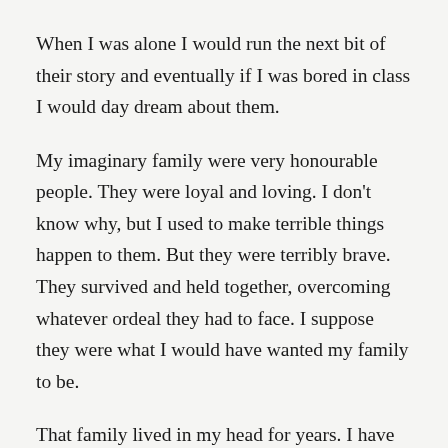When I was alone I would run the next bit of their story and eventually if I was bored in class I would day dream about them.
My imaginary family were very honourable people. They were loyal and loving. I don't know why, but I used to make terrible things happen to them. But they were terribly brave. They survived and held together, overcoming whatever ordeal they had to face. I suppose they were what I would have wanted my family to be.
That family lived in my head for years. I have never told anyone about them, not even any of my many therapists because I suppose I was embarrassed. But you do what you have to do to stop yourself going mad. When I had no-one else, at least I had them.